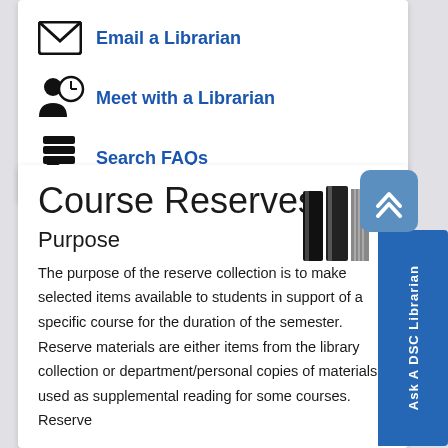Email a Librarian
Meet with a Librarian
Search FAQs
Course Reserves
Purpose
The purpose of the reserve collection is to make selected items available to students in support of a specific course for the duration of the semester. Reserve materials are either items from the library collection or department/personal copies of materials used as supplemental reading for some courses. Reserve